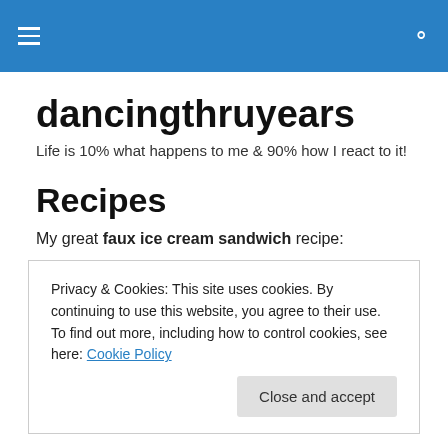dancingthruyears — site navigation header
dancingthruyears
Life is 10% what happens to me & 90% how I react to it!
Recipes
My great faux ice cream sandwich recipe:
2 Chocolate Graham cracker squares
Privacy & Cookies: This site uses cookies. By continuing to use this website, you agree to their use. To find out more, including how to control cookies, see here: Cookie Policy
Close and accept